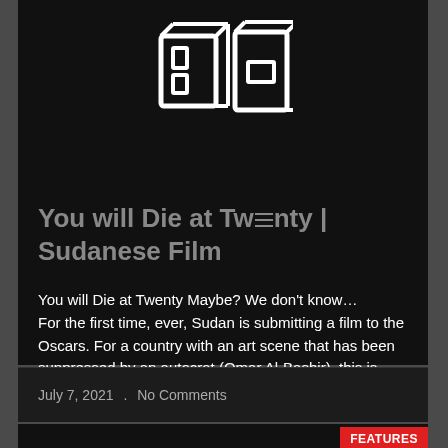[Figure (logo): Pixel art logo showing two stylized characters resembling Japanese kanji or boxes, outlined in white on black background]
You will Die at Twenty | Sudanese Film
You will Die at Twenty Maybe? We don't know… For the first time, ever, Sudan is submitting a film to the Oscars. For a country with an art scene that has been suppressed by an autocrat (Omar Al-Bashir), this is huge news. Especially, as an African. Okay, maybe not in that intensity. But it's huge news! Let's explain why!
July 7, 2021  .  No Comments
FEATURES